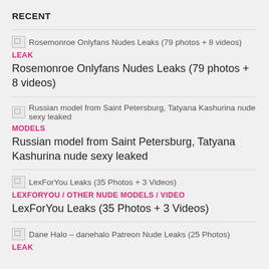RECENT
Rosemonroe Onlyfans Nudes Leaks (79 photos + 8 videos)
Russian model from Saint Petersburg, Tatyana Kashurina nude sexy leaked
LexForYou Leaks (35 Photos + 3 Videos)
Dane Halo – danehalo Patreon Nude Leaks (25 Photos)